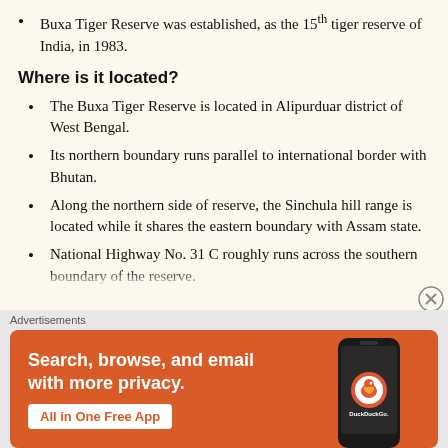Buxa Tiger Reserve was established, as the 15th tiger reserve of India, in 1983.
Where is it located?
The Buxa Tiger Reserve is located in Alipurduar district of West Bengal.
Its northern boundary runs parallel to international border with Bhutan.
Along the northern side of reserve, the Sinchula hill range is located while it shares the eastern boundary with Assam state.
National Highway No. 31 C roughly runs across the southern boundary of the reserve.
[Figure (screenshot): DuckDuckGo advertisement banner with orange background showing 'Search, browse, and email with more privacy. All in One Free App' with a phone image and DuckDuckGo logo.]